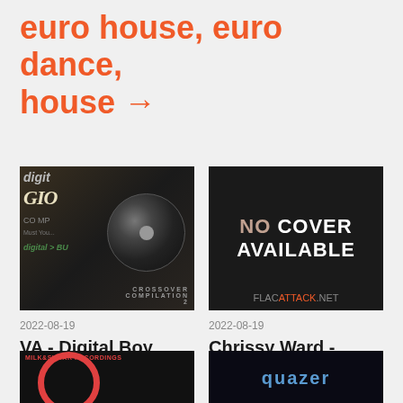euro house, euro dance, house →
[Figure (photo): Album cover for VA - Digital Boy Crossover Compilation 2 (1994), showing a CD and dark background]
2022-08-19
VA - Digital Boy Crossover Compilation 2 (1994)
[Figure (photo): No Cover Available placeholder image with FLACATTACK.NET watermark]
2022-08-19
Chrissy Ward - Right And Exact (1996)
[Figure (photo): Milk & Sugar Recordings album artwork, dark with red circle]
[Figure (photo): Quazer album artwork, dark with blue teal text]